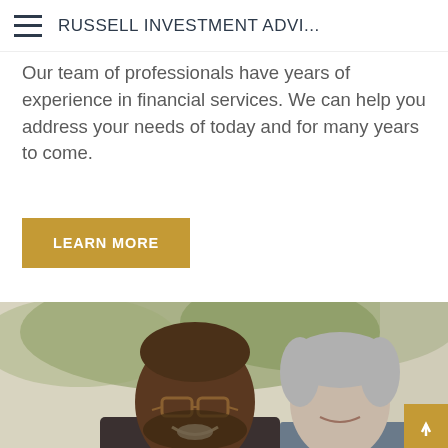RUSSELL INVESTMENT ADVI...
Our team of professionals have years of experience in financial services. We can help you address your needs of today and for many years to come.
[Figure (other): Gold/amber colored button with white text reading LEARN MORE]
[Figure (photo): Photo of a smiling older Black man wearing glasses and a woman with short gray hair, both outdoors with green foliage in the background]